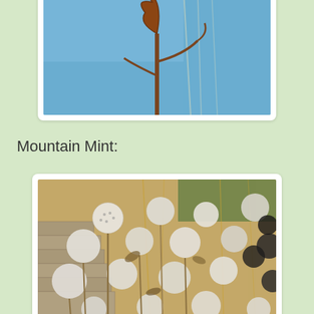[Figure (photo): Close-up photo of dried brown seed pods on a plant stem against a blue sky background]
Mountain Mint:
[Figure (photo): Close-up photo of mountain mint plant with numerous small white fluffy seed heads/flower clusters, photographed outdoors with beige and green background]